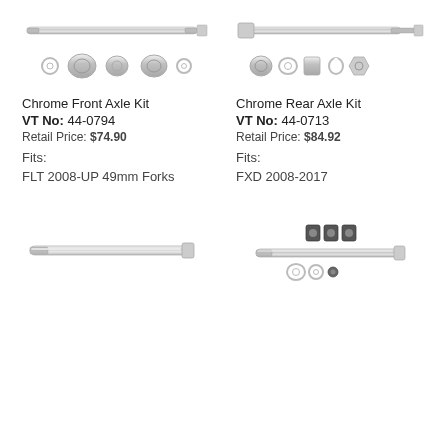[Figure (photo): Chrome Front Axle Kit parts: long chrome axle rod and several washers/spacers]
Chrome Front Axle Kit
VT No:  44-0794
Retail Price: $74.90
Fits:
FLT 2008-UP 49mm Forks
[Figure (photo): Chrome Rear Axle Kit parts: long chrome bolt and assorted spacers/nuts]
Chrome Rear Axle Kit
VT No:  44-0713
Retail Price: $84.92
Fits:
FXD 2008-2017
[Figure (photo): Single long chrome axle rod/bolt]
[Figure (photo): Chrome axle kit with sockets and small hardware pieces]